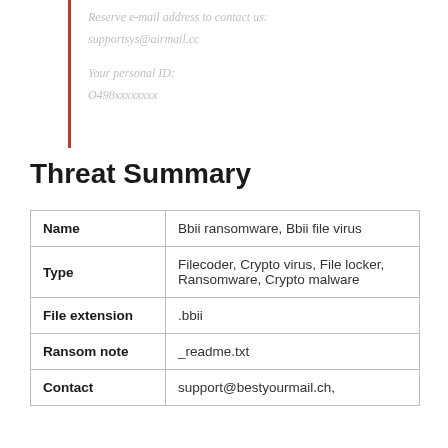Reserve e-mail address to contact us:
supportsys@airmail.cc

Your personal ID:
O498xxxxxxxx
Threat Summary
|  |  |
| --- | --- |
| Name | Bbii ransomware, Bbii file virus |
| Type | Filecoder, Crypto virus, File locker, Ransomware, Crypto malware |
| File extension | .bbii |
| Ransom note | _readme.txt |
| Contact | support@bestyourmail.ch, |